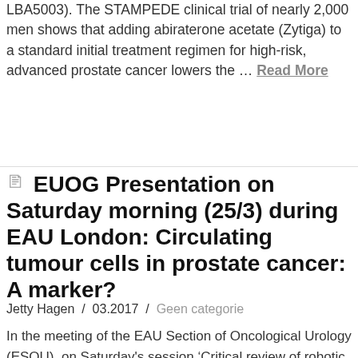LBA5003). The STAMPEDE clinical trial of nearly 2,000 men shows that adding abiraterone acetate (Zytiga) to a standard initial treatment regimen for high-risk, advanced prostate cancer lowers the … Read More
EUOG Presentation on Saturday morning (25/3) during EAU London: Circulating tumour cells in prostate cancer: A marker?
Jetty Hagen / 03.2017 / Geen categorie
In the meeting of the EAU Section of Oncological Urology (ESOU), on Saturday's session 'Critical review of robotic surgery in uro-oncology', the EUOG will be represented. Location: